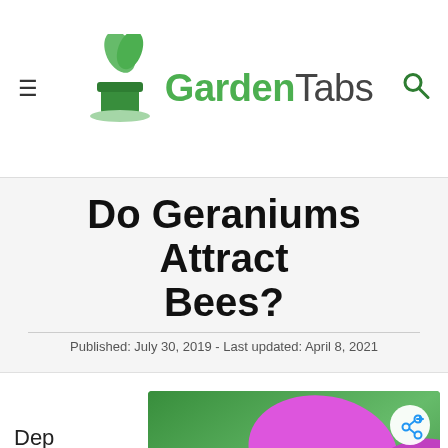GardenTabs
Do Geraniums Attract Bees?
Published: July 30, 2019 - Last updated: April 8, 2021
[Figure (photo): Purple geranium flower close-up on green background with share button overlay]
Depending on